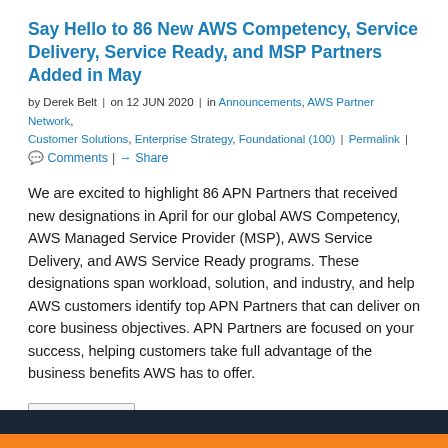Say Hello to 86 New AWS Competency, Service Delivery, Service Ready, and MSP Partners Added in May
by Derek Belt | on 12 JUN 2020 | in Announcements, AWS Partner Network, Customer Solutions, Enterprise Strategy, Foundational (100) | Permalink | Comments | Share
We are excited to highlight 86 APN Partners that received new designations in April for our global AWS Competency, AWS Managed Service Provider (MSP), AWS Service Delivery, and AWS Service Ready programs. These designations span workload, solution, and industry, and help AWS customers identify top APN Partners that can deliver on core business objectives. APN Partners are focused on your success, helping customers take full advantage of the business benefits AWS has to offer.
Read More
← Older posts